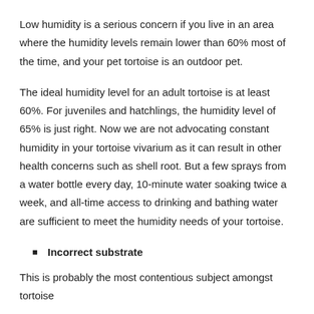Low humidity is a serious concern if you live in an area where the humidity levels remain lower than 60% most of the time, and your pet tortoise is an outdoor pet.
The ideal humidity level for an adult tortoise is at least 60%. For juveniles and hatchlings, the humidity level of 65% is just right. Now we are not advocating constant humidity in your tortoise vivarium as it can result in other health concerns such as shell root. But a few sprays from a water bottle every day, 10-minute water soaking twice a week, and all-time access to drinking and bathing water are sufficient to meet the humidity needs of your tortoise.
Incorrect substrate
This is probably the most contentious subject amongst tortoise